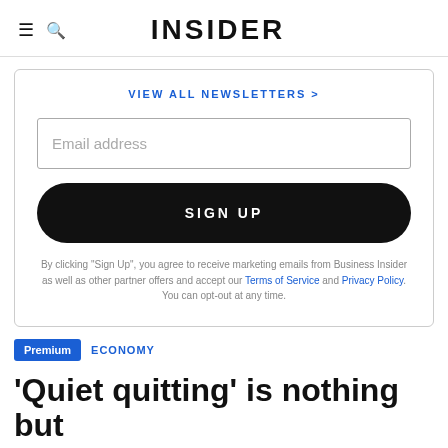INSIDER
VIEW ALL NEWSLETTERS >
Email address
SIGN UP
By clicking "Sign Up", you agree to receive marketing emails from Business Insider as well as other partner offers and accept our Terms of Service and Privacy Policy. You can opt-out at any time.
Premium  ECONOMY
'Quiet quitting' is nothing but